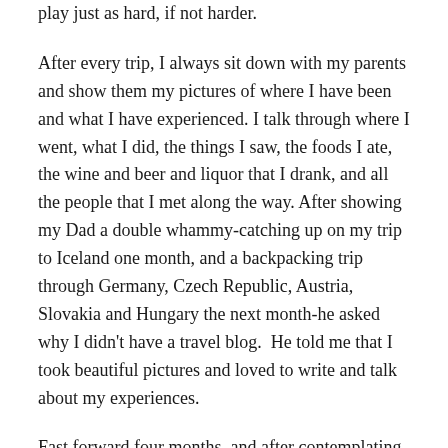play just as hard, if not harder.
After every trip, I always sit down with my parents and show them my pictures of where I have been and what I have experienced. I talk through where I went, what I did, the things I saw, the foods I ate, the wine and beer and liquor that I drank, and all the people that I met along the way. After showing my Dad a double whammy-catching up on my trip to Iceland one month, and a backpacking trip through Germany, Czech Republic, Austria, Slovakia and Hungary the next month-he asked why I didn't have a travel blog.  He told me that I took beautiful pictures and loved to write and talk about my experiences.
Fast forward four months, and after contemplating and talking with other bloggers and travelers, I finally decided to go for it. So this blog is dedicated to all those journeys and adventures, providing you information, insight, and inspiration to everyone learning about the world by...